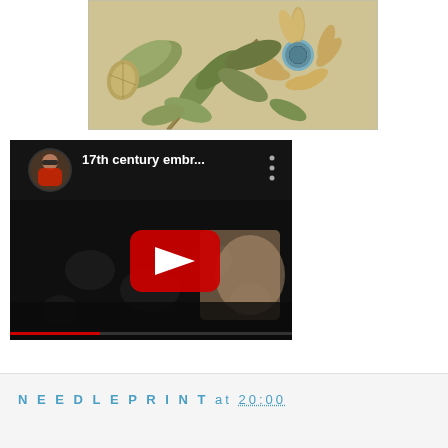[Figure (photo): Photograph of 17th century embroidery showing floral motifs including leaves, a sunflower, and other botanical elements on a cream/beige fabric background]
[Figure (screenshot): YouTube video thumbnail showing '17th century embr...' with a circular avatar of a woman with red hair and sunglasses, three-dot menu, and a red play button over a dark video frame showing embroidered fabric]
NEEDLEPRINT at 20:00